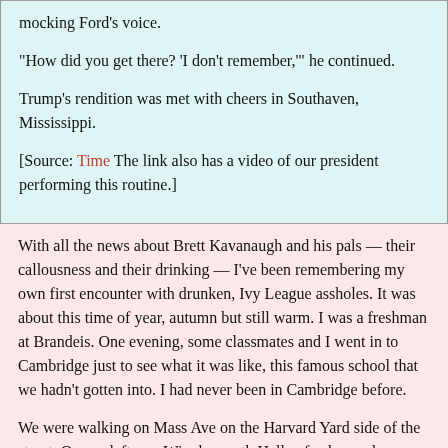mocking Ford's voice.
“How did you get there? ‘I don’t remember,’” he continued.
Trump’s rendition was met with cheers in Southaven, Mississippi.
[Source: Time The link also has a video of our president performing this routine.]
With all the news about Brett Kavanaugh and his pals — their callousness and their drinking — I’ve been remembering my own first encounter with drunken, Ivy League assholes. It was about this time of year, autumn but still warm. I was a freshman at Brandeis. One evening, some classmates and I went in to Cambridge just to see what it was like, this famous school that we hadn’t gotten into. I had never been in Cambridge before.
We were walking on Mass Ave on the Harvard Yard side of the street. On our left was Wigglesworth Hall, a freshman dorm. The space between the dorm and the sidewalk outside the fence is only about ten feet, though the social distance is much greater.